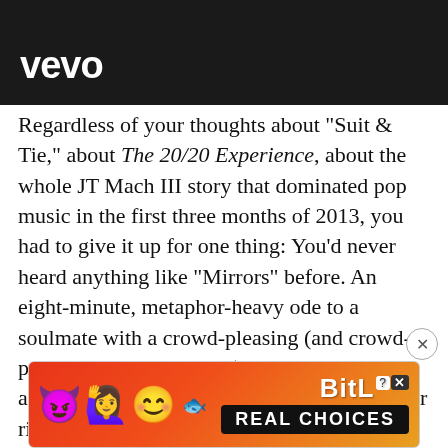[Figure (screenshot): Vevo video banner — dark background with white Vevo logo in lower-left]
Regardless of your thoughts about "Suit & Tie," about The 20/20 Experience, about the whole JT Mach III story that dominated pop music in the first three months of 2013, you had to give it up for one thing: You'd never heard anything like "Mirrors" before. An eight-minute, metaphor-heavy ode to a soulmate with a crowd-pleasing (and crowd-participation-demanding) chorus, a beatbox-and-string-heavy beat led by an echoing guitar riff, and a three-minute outro that sounds like the original song melting into
[Figure (screenshot): BitLife advertisement banner — colorful emoji characters with BitLife logo and REAL CHOICES text on orange/red gradient background]